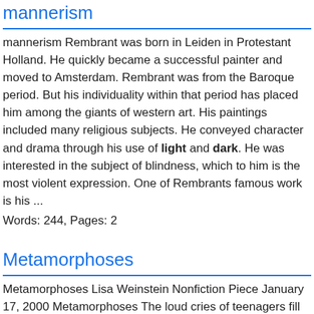mannerism
mannerism Rembrant was born in Leiden in Protestant Holland. He quickly became a successful painter and moved to Amsterdam. Rembrant was from the Baroque period. But his individuality within that period has placed him among the giants of western art. His paintings included many religious subjects. He conveyed character and drama through his use of light and dark. He was interested in the subject of blindness, which to him is the most violent expression. One of Rembrants famous work is his ...
Words: 244, Pages: 2
Metamorphoses
Metamorphoses Lisa Weinstein Nonfiction Piece January 17, 2000 Metamorphoses The loud cries of teenagers fill the night, their laughter and screams echo through the streets. The many partygoers crowd the narrow sidewalks, stumbling and leaning...